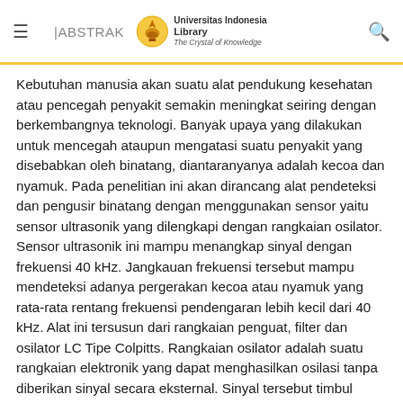|ABSTRAK | Universitas Indonesia Library The Crystal of Knowledge
Kebutuhan manusia akan suatu alat pendukung kesehatan atau pencegah penyakit semakin meningkat seiring dengan berkembangnya teknologi. Banyak upaya yang dilakukan untuk mencegah ataupun mengatasi suatu penyakit yang disebabkan oleh binatang, diantaranyanya adalah kecoa dan nyamuk. Pada penelitian ini akan dirancang alat pendeteksi dan pengusir binatang dengan menggunakan sensor yaitu sensor ultrasonik yang dilengkapi dengan rangkaian osilator. Sensor ultrasonik ini mampu menangkap sinyal dengan frekuensi 40 kHz. Jangkauan frekuensi tersebut mampu mendeteksi adanya pergerakan kecoa atau nyamuk yang rata-rata rentang frekuensi pendengaran lebih kecil dari 40 kHz. Alat ini tersusun dari rangkaian penguat, filter dan osilator LC Tipe Colpitts. Rangkaian osilator adalah suatu rangkaian elektronik yang dapat menghasilkan osilasi tanpa diberikan sinyal secara eksternal. Sinyal tersebut timbul karena adanya noise pada action